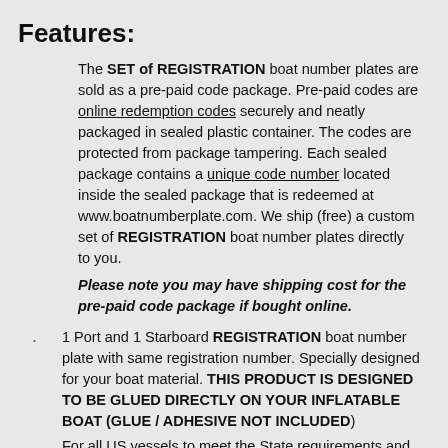Features:
The SET of REGISTRATION boat number plates are sold as a pre-paid code package.  Pre-paid  codes are online redemption codes securely and neatly packaged in sealed plastic container. The codes are protected from package tampering.  Each sealed package contains a unique  code number located inside the sealed package that is redeemed at www.boatnumberplate.com.  We ship (free) a custom set of REGISTRATION boat number plates directly to you.
Please note you may have shipping cost for the pre-paid code package if bought online.
1 Port and 1 Starboard REGISTRATION boat number plate with same registration number. Specially designed for your boat material. THIS PRODUCT IS DESIGNED TO BE GLUED DIRECTLY ON YOUR INFLATABLE BOAT (GLUE / ADHESIVE NOT INCLUDED)
For all US vessels to meet the State requirements and the USCG promulgated standards of 33CFR173.27 (ALL REGISTRATION BOAT NUMBER PLATES INCLUDE